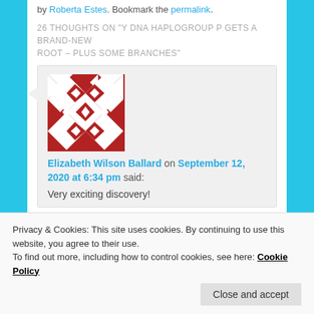by Roberta Estes. Bookmark the permalink.
26 THOUGHTS ON "Y DNA HAPLOGROUP P GETS A BRAND-NEW ROOT – PLUS SOME BRANCHES"
[Figure (illustration): User avatar with red and white geometric diamond/cross pattern]
Elizabeth Wilson Ballard on September 12, 2020 at 6:34 pm said:
Very exciting discovery!
Privacy & Cookies: This site uses cookies. By continuing to use this website, you agree to their use. To find out more, including how to control cookies, see here: Cookie Policy
Close and accept